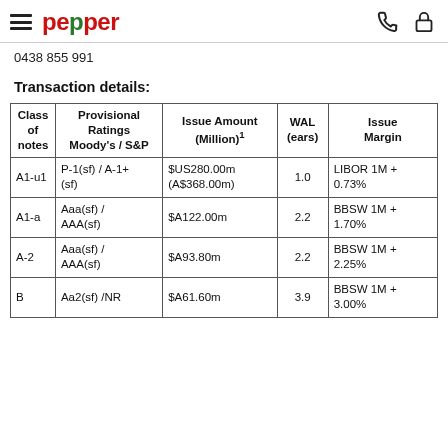pepper
0438 855 991
Transaction details:
| Class of notes | Provisional Ratings Moody's / S&P | Issue Amount (Million)¹ | WAL (ears) | Issue Margin |
| --- | --- | --- | --- | --- |
| A1-u1 | P-1(sf) / A-1+ (sf) | $US280.00m (A$368.00m) | 1.0 | LIBOR 1M + 0.73% |
| A1-a | Aaa(sf) / AAA(sf) | $A122.00m | 2.2 | BBSW 1M + 1.70% |
| A-2 | Aaa(sf) / AAA(sf) | $A93.80m | 2.2 | BBSW 1M + 2.25% |
| B | Aa2(sf) /NR | $A61.60m | 3.9 | BBSW 1M + 3.00% |